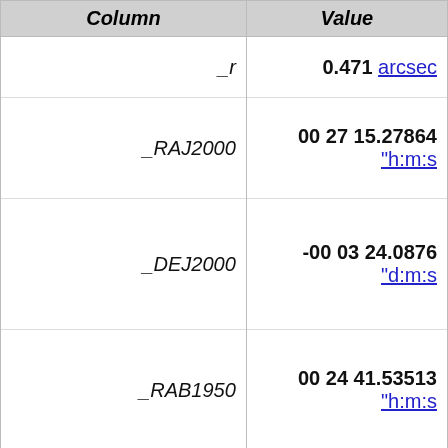| Column | Value |  |
| --- | --- | --- |
| _r | 0.471 | arcsec |
| _RAJ2000 | 00 27 15.27864 | "h:m:s |
| _DEJ2000 | -00 03 24.0876 | "d:m:s |
| _RAB1950 | 00 24 41.53513 | "h:m:s |